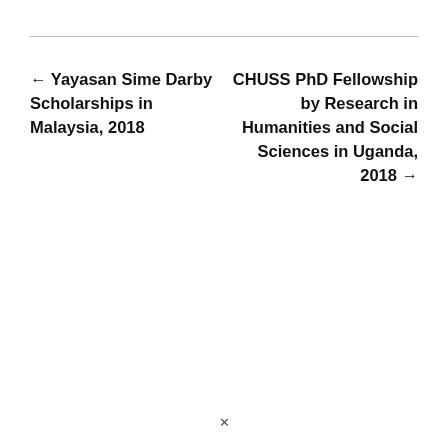← Yayasan Sime Darby Scholarships in Malaysia, 2018
CHUSS PhD Fellowship by Research in Humanities and Social Sciences in Uganda, 2018 →